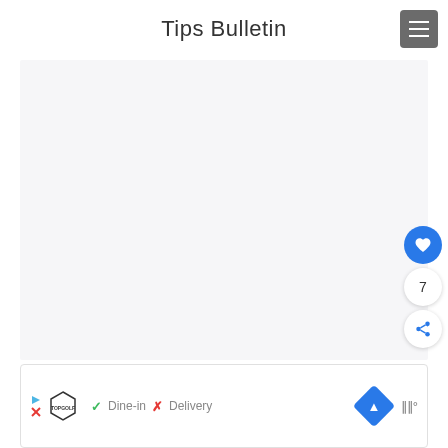Tips Bulletin
[Figure (other): Large light gray empty content area (advertisement or image placeholder)]
[Figure (other): Website UI chrome: right sidebar with blue heart button, share button, count '7'; bottom bar showing TopGolf logo, Dine-in checkmark, Delivery X, navigation arrow icon, and maps icon]